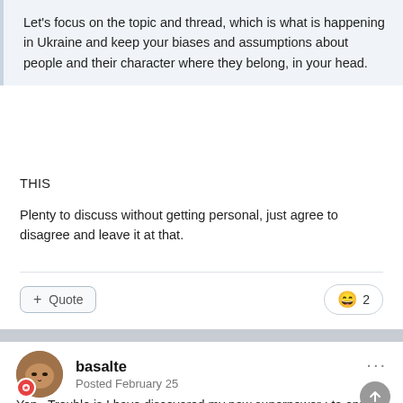Let's focus on the topic and thread, which is what is happening in Ukraine and keep your biases and assumptions about people and their character where they belong, in your head.
THIS
Plenty to discuss without getting personal, just agree to disagree and leave it at that.
basalte
Posted February 25
Yep . Trouble is I have discovered my new superpower ; to enrage people by not swearing and not calling them names and not suggesting they're deluded or insane . The POWER of it ! 😆😆